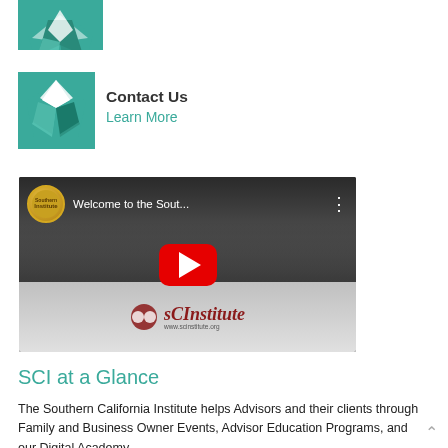[Figure (logo): Partial Southern California Institute logo (teal/green geometric star-like icon, cropped at top)]
[Figure (logo): Southern California Institute teal geometric logo icon]
Contact Us
Learn More
[Figure (screenshot): YouTube video thumbnail for 'Welcome to the Sout...' featuring Southern California Institute logo and branding with red play button overlay]
SCI at a Glance
The Southern California Institute helps Advisors and their clients through Family and Business Owner Events, Advisor Education Programs, and our Digital Academy.